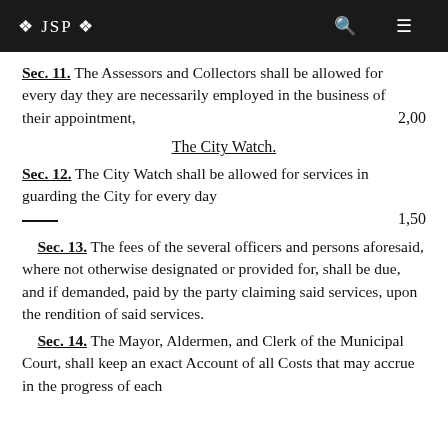❖ JSP ❖
Sec. 11. The Assessors and Collectors shall be allowed for every day they are necessarily employed in the business of their appointment,   2,00
The City Watch.
Sec. 12. The City Watch shall be allowed for services in guarding the City for every day   1,50
Sec. 13. The fees of the several officers and persons aforesaid, where not otherwise designated or provided for, shall be due, and if demanded, paid by the party claiming said services, upon the rendition of said services.
Sec. 14. The Mayor, Aldermen, and Clerk of the Municipal Court, shall keep an exact Account of all Costs that may accrue in the progress of each